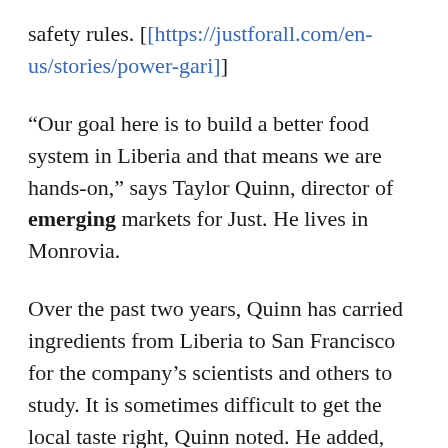safety rules. [[https://justforall.com/en-us/stories/power-gari]]
“Our goal here is to build a better food system in Liberia and that means we are hands-on,” says Taylor Quinn, director of emerging markets for Just. He lives in Monrovia.
Over the past two years, Quinn has carried ingredients from Liberia to San Francisco for the company’s scientists and others to study. It is sometimes difficult to get the local taste right, Quinn noted. He added, “The cassava – or the sugar, or whatever it may be that we're using in northern Liberia – is different than what we can get access to here in the office.”
The company is continually changing the manufacturing directions for the product, Quinn